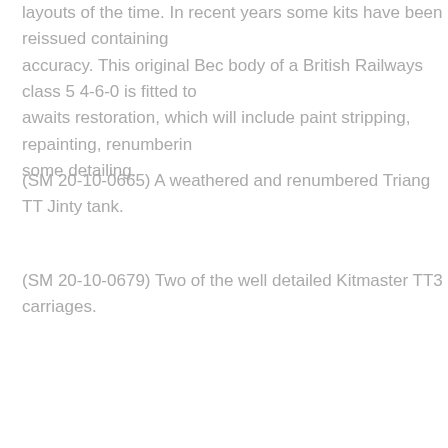layouts of the time. In recent years some kits have been reissued containing accuracy. This original Bec body of a British Railways class 5 4-6-0 is fitted to awaits restoration, which will include paint stripping, repainting, renumbering some detailing.
(SM 20-10-0665) A weathered and renumbered Triang TT Jinty tank.
(SM 20-10-0679) Two of the well detailed Kitmaster TT3 carriages.